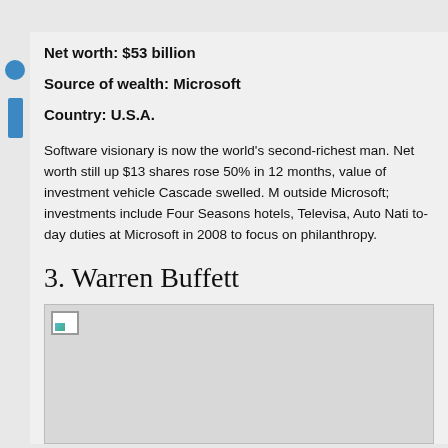Net worth: $53 billion
Source of wealth: Microsoft
Country: U.S.A.
Software visionary is now the world's second-richest man. Net worth still up $13 shares rose 50% in 12 months, value of investment vehicle Cascade swelled. M outside Microsoft; investments include Four Seasons hotels, Televisa, Auto Nati to-day duties at Microsoft in 2008 to focus on philanthropy.
3. Warren Buffett
[Figure (photo): Photo placeholder for Warren Buffett - image not loaded]